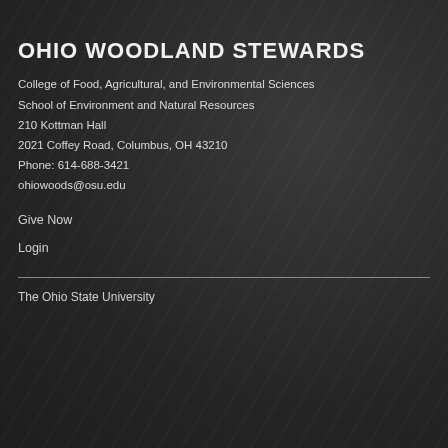OHIO WOODLAND STEWARDS
College of Food, Agricultural, and Environmental Sciences
School of Environment and Natural Resources
210 Kottman Hall
2021 Coffey Road, Columbus, OH 43210
Phone: 614-688-3421
ohiowoods@osu.edu
Give Now
Login
The Ohio State University